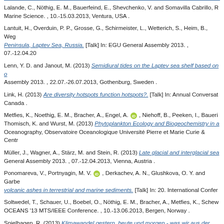Lalande, C., Nöthig, E. M., Bauerfeind, E., Shevchenko, V. and Somavilla Cabrillo, R ... Marine Science. , 10.-15.03.2013, Ventura, USA .
Lantuit, H., Overduin, P. P., Grosse, G., Schirmeister, L., Wetterich, S., Heim, B., Weg... Peninsula, Laptev Sea, Russia. [Talk] In: EGU General Assembly 2013. , 07.-12.04.20...
Lenn, Y. D. and Janout, M. (2013) Semidiural tides on the Laptev sea shelf based on o... Assembly 2013. , 22.07.-26.07.2013, Gothenburg, Sweden .
Link, H. (2013) Are diversity hotspots function hotspots?. [Talk] In: Annual Conversa... Canada .
Metfies, K., Noethig, E. M., Bracher, A., Engel, A., Niehoff, B., Peeken, I., Bauer... Thomisch, K. and Wurst, M. (2013) Phytoplankton Ecology and Biogeochemistry in a... Oceanography, Observatoire Oceanologique Université Pierre et Marie Curie & Centr...
Müller, J., Wagner, A., Stärz, M. and Stein, R. (2013) Late glacial and interglacial sea... General Assembly 2013. , 07.-12.04.2013, Vienna, Austria .
Ponomareva, V., Portnyagin, M. V., Derkachev, A. N., Glushkova, O. Y. and Garbe... volcanic ashes in terrestrial and marine sediments. [Talk] In: 20. International Confer...
Soltwedel, T., Schauer, U., Boebel, O., Nöthig, E. M., Bracher, A., Metfies, K., Schew... OCEANS '13 MTS/IEEE Conference. , 10.-13.06.2013, Bergen, Norway .
Spielhagen, R. (2013) Klimawandel gestern, heute und morgen - was wir aus der Verg... 18.06.2013, Schwentinental, Deutschland .
Spielhagen, R. (2013) Reconstructing North Atlantic wind systems from sediments in b... Norwegisches Studienzentrum (German-Norwegian Study Center) Annual Meeting.